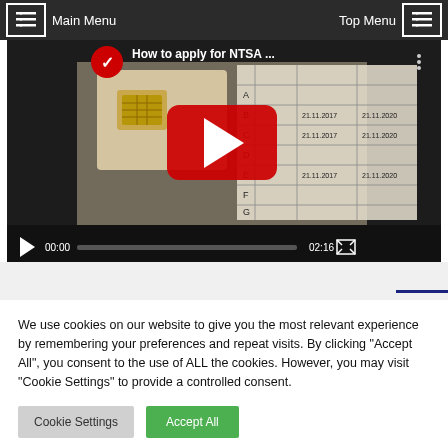Main Menu | Top Menu
[Figure (screenshot): YouTube video thumbnail showing 'How to apply for NTSA ...' with a play button overlay, red YouTube icon, and document/ID card content visible. Video duration shown as 02:16, current time 00:00.]
We use cookies on our website to give you the most relevant experience by remembering your preferences and repeat visits. By clicking "Accept All", you consent to the use of ALL the cookies. However, you may visit "Cookie Settings" to provide a controlled consent.
Cookie Settings | Accept All